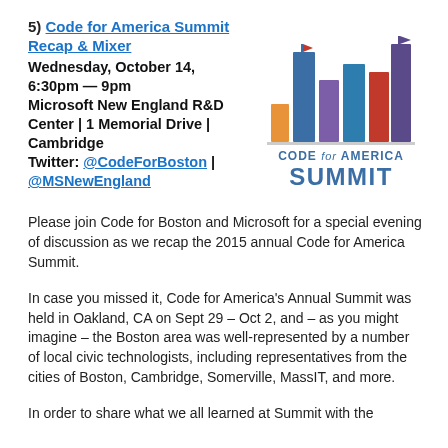5) Code for America Summit Recap & Mixer
Wednesday, October 14, 6:30pm — 9pm
Microsoft New England R&D Center | 1 Memorial Drive | Cambridge
Twitter: @CodeForBoston | @MSNewEngland
[Figure (logo): Code for America Summit logo with colorful bar chart skyline graphic above the text 'CODE for AMERICA SUMMIT']
Please join Code for Boston and Microsoft for a special evening of discussion as we recap the 2015 annual Code for America Summit.
In case you missed it, Code for America's Annual Summit was held in Oakland, CA on Sept 29 – Oct 2, and – as you might imagine – the Boston area was well-represented by a number of local civic technologists, including representatives from the cities of Boston, Cambridge, Somerville, MassIT, and more.
In order to share what we all learned at Summit with the